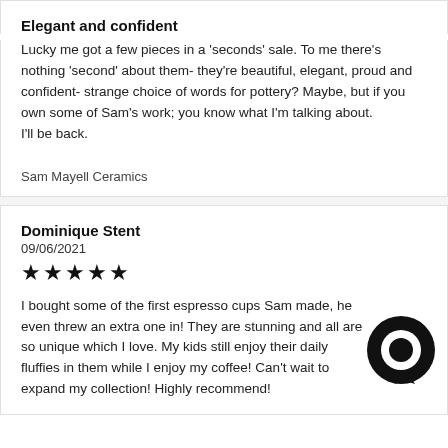Elegant and confident
Lucky me got a few pieces in a 'seconds' sale. To me there's nothing 'second' about them- they're beautiful, elegant, proud and confident- strange choice of words for pottery? Maybe, but if you own some of Sam's work; you know what I'm talking about.
I'll be back.
Sam Mayell Ceramics
Dominique Stent
09/06/2021
★★★★★
I bought some of the first espresso cups Sam made, he even threw an extra one in! They are stunning and all are so unique which I love. My kids still enjoy their daily fluffies in them while I enjoy my coffee! Can't wait to expand my collection! Highly recommend!